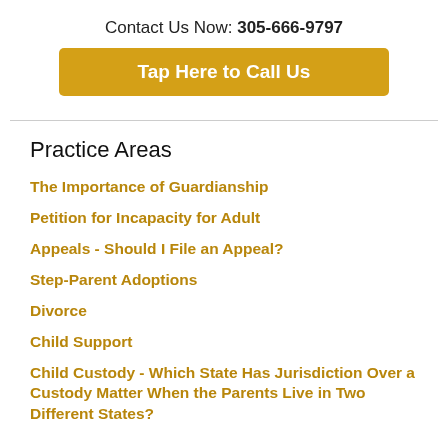Contact Us Now: 305-666-9797
Tap Here to Call Us
Practice Areas
The Importance of Guardianship
Petition for Incapacity for Adult
Appeals - Should I File an Appeal?
Step-Parent Adoptions
Divorce
Child Support
Child Custody - Which State Has Jurisdiction Over a Custody Matter When the Parents Live in Two Different States?